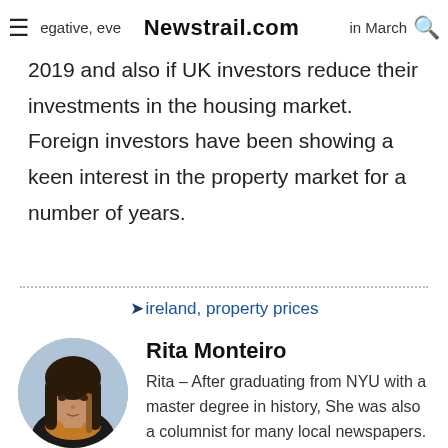≡ egative, even [Newstrail.com] in March 🔍
2019 and also if UK investors reduce their investments in the housing market. Foreign investors have been showing a keen interest in the property market for a number of years.
ireland, property prices
Rita Monteiro
Rita – After graduating from NYU with a master degree in history, She was also a columnist for many local newspapers. Rita mostly covers